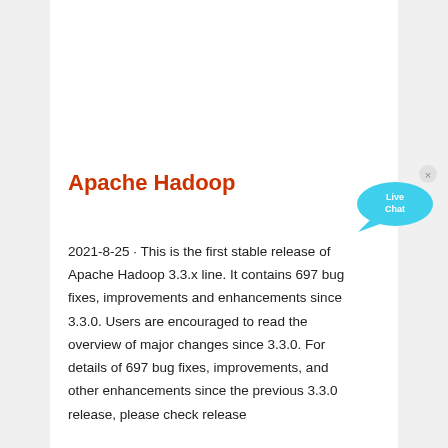[Figure (photo): Industrial machinery photograph, showing mechanical equipment with gauges and pipes in a factory setting. Partial view cropped at top.]
Apache Hadoop
[Figure (other): Live Chat button bubble in cyan/blue color with an X close button in the top right corner.]
2021-8-25 · This is the first stable release of Apache Hadoop 3.3.x line. It contains 697 bug fixes, improvements and enhancements since 3.3.0. Users are encouraged to read the overview of major changes since 3.3.0. For details of 697 bug fixes, improvements, and other enhancements since the previous 3.3.0 release, please check release